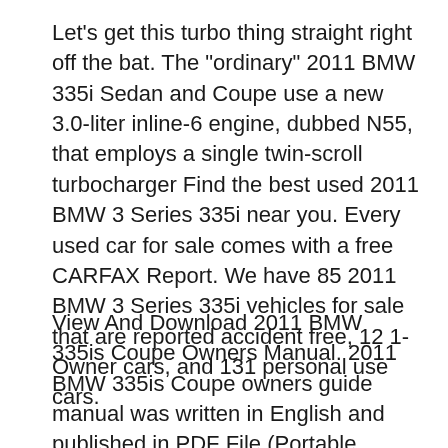Let's get this turbo thing straight right off the bat. The "ordinary" 2011 BMW 335i Sedan and Coupe use a new 3.0-liter inline-6 engine, dubbed N55, that employs a single twin-scroll turbocharger Find the best used 2011 BMW 3 Series 335i near you. Every used car for sale comes with a free CARFAX Report. We have 85 2011 BMW 3 Series 335i vehicles for sale that are reported accident free, 12 1-Owner cars, and 131 personal use cars.
View And Download 2011 BMW 335is Coupe Owners Manual. 2011 BMW 335is Coupe owners guide manual was written in English and published in PDF File (Portable Document Format). You can find helpful and important